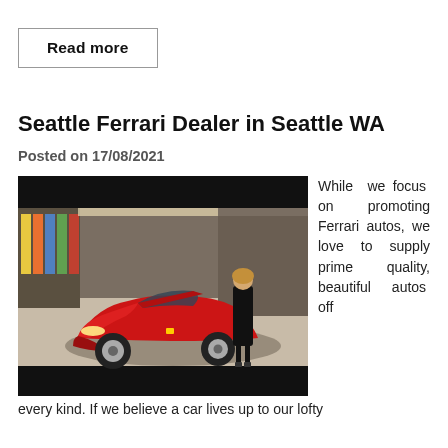Read more
Seattle Ferrari Dealer in Seattle WA
Posted on 17/08/2021
[Figure (photo): A red Ferrari sports car in a showroom with a woman standing next to it and colorful fabric swatches on the wall in the background.]
While we focus on promoting Ferrari autos, we love to supply prime quality, beautiful autos off every kind. If we believe a car lives up to our lofty